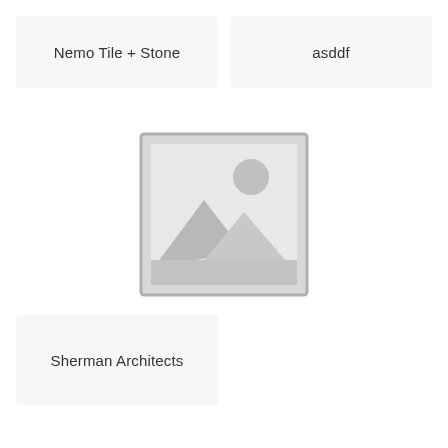Nemo Tile + Stone
asddf
[Figure (illustration): Placeholder image icon showing a frame with a mountain landscape silhouette and circle (sun) in grey tones]
Sherman Architects